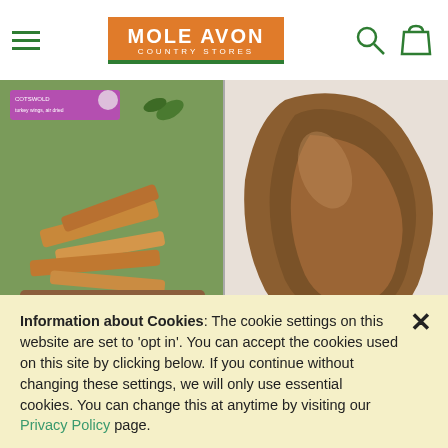[Figure (logo): Mole Avon Country Stores logo - orange rectangle with white text, green underline]
[Figure (photo): Cotswold brand turkey wings, air dried dog treats on wooden board with green leaves]
[Figure (photo): Close-up of a dried animal ear treat (pigs ear) on white background]
Information about Cookies: The cookie settings on this website are set to 'opt in'. You can accept the cookies used on this site by clicking below. If you continue without changing these settings, we will only use essential cookies. You can change this at anytime by visiting our Privacy Policy page.
Allow / Close
Opt out